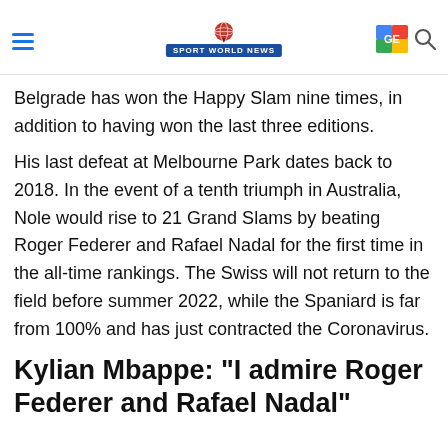Sport World News
Belgrade has won the Happy Slam nine times, in addition to having won the last three editions.
His last defeat at Melbourne Park dates back to 2018. In the event of a tenth triumph in Australia, Nole would rise to 21 Grand Slams by beating Roger Federer and Rafael Nadal for the first time in the all-time rankings. The Swiss will not return to the field before summer 2022, while the Spaniard is far from 100% and has just contracted the Coronavirus.
Kylian Mbappe: "I admire Roger Federer and Rafael Nadal"